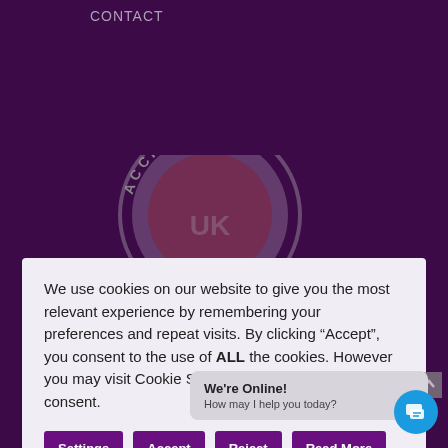CONTACT
[Figure (logo): Partial circular accreditation badge with text 'ACCREDITED' around the edge, visible in background behind cookie modal]
We use cookies on our website to give you the most relevant experience by remembering your preferences and repeat visits. By clicking “Accept”, you consent to the use of ALL the cookies. However you may visit Cookie Settings to provide a controlled consent.
Settings | Accept | Reject | Read More
© 2022 Forensic About Business Solutions Ltd. All rights
Terms and Conditions | GDPR | Privacy Notice | Cookie Notice
We're Online! How may I help you today?